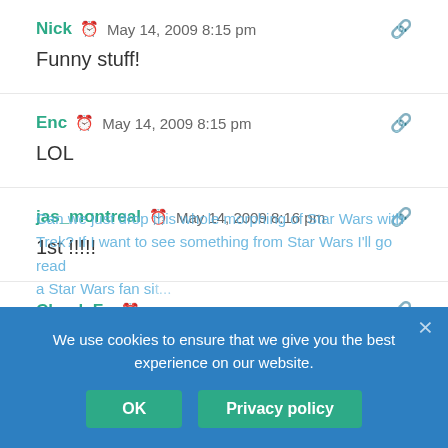Nick  May 14, 2009 8:15 pm
Funny stuff!
Enc  May 14, 2009 8:15 pm
LOL
jas_montreal  May 14, 2009 8:16 pm
1st !!!!!
Chuck Fu  May 14, 2009 8:17 pm
Can we just drop this whole morphing of Star Wars with Trek? If I want to see something from Star Wars I'll go read a Star Wars fan si...
We use cookies to ensure that we give you the best experience on our website.
OK
Privacy policy
Shaun, Byron, Morrisville, Vermont,...